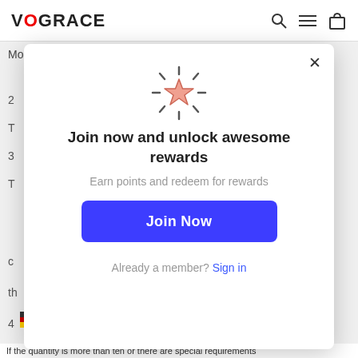VOGRACE
Most products can be ordered from one to any number
[Figure (screenshot): Popup modal with star icon, title 'Join now and unlock awesome rewards', subtitle 'Earn points and redeem for rewards', a 'Join Now' blue button, and 'Already a member? Sign in' link. Close (x) button in top right.]
If the quantity is more than ten or there are special requirements